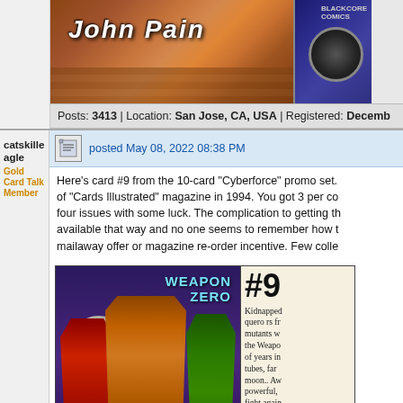[Figure (photo): Top portion showing comic/trading card images with 'John Pain' text visible, partially cropped]
Posts: 3413 | Location: San Jose, CA, USA | Registered: Decemb
catskilleagle
Gold Card Talk Member
posted May 08, 2022 08:38 PM
Here's card #9 from the 10-card "Cyberforce" promo set. of "Cards Illustrated" magazine in 1994. You got 3 per co four issues with some luck. The complication to getting th available that way and no one seems to remember how t mailaway offer or magazine re-order incentive. Few colle
[Figure (photo): Trading card front showing 'Weapon Zero' with armored characters including one in red, one in orange armor, one in green, against a moonlit purple background]